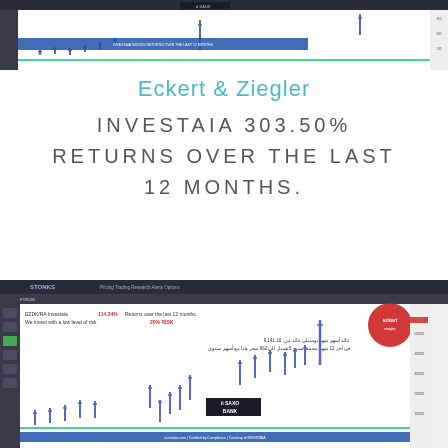[Figure (screenshot): Screenshot of a stock trading platform (Saxo Bank / STONKS) showing a candlestick/OHLC chart with price data for EZDK/Investaia, with a green baseline and upward trending bars, featuring Arabic text and Saxo Bank logo.]
Eckert & Ziegler
INVESTAIA 303.50% RETURNS OVER THE LAST 12 MONTHS.
[Figure (screenshot): Screenshot of a stock trading platform (STONKS) showing OHLC/candlestick chart for EZDK/Investaia with 114.34% returns text, Arabic annotations, Saxo Bank logo, red circular logo overlay, and price bars trending upward with a green baseline.]